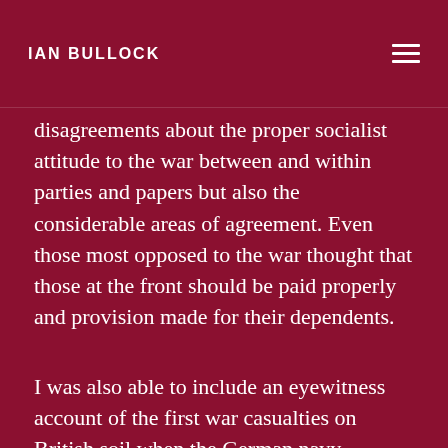IAN BULLOCK
disagreements about the proper socialist attitude to the war between and within parties and papers but also the considerable areas of agreement. Even those most opposed to the war thought that those at the front should be paid properly and provision made for their dependents.
I was also able to include an eyewitness account of the first war casualties on British soil when the German navy bombarded Scarborough and other East Coast ports that December. That was before Zeppelin bombing raids began in 1915, it included…